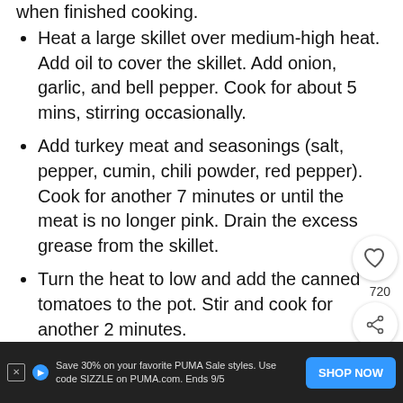when finished cooking.
Heat a large skillet over medium-high heat. Add oil to cover the skillet. Add onion, garlic, and bell pepper. Cook for about 5 mins, stirring occasionally.
Add turkey meat and seasonings (salt, pepper, cumin, chili powder, red pepper). Cook for another 7 minutes or until the meat is no longer pink. Drain the excess grease from the skillet.
Turn the heat to low and add the canned tomatoes to the pot. Stir and cook for another 2 minutes.
Stir in the cooked pasta noodles and